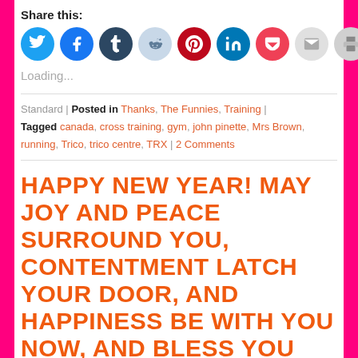Share this:
[Figure (infographic): Row of social media sharing icon circles: Twitter (blue), Facebook (blue), Tumblr (dark navy), Reddit (light blue), Pinterest (dark red), LinkedIn (teal), Pocket (red), Email (gray), Print (gray)]
Loading...
Standard | Posted in Thanks, The Funnies, Training | Tagged canada, cross training, gym, john pinette, Mrs Brown, running, Trico, trico centre, TRX | 2 Comments
HAPPY NEW YEAR! MAY JOY AND PEACE SURROUND YOU, CONTENTMENT LATCH YOUR DOOR, AND HAPPINESS BE WITH YOU NOW, AND BLESS YOU EVERMORE.